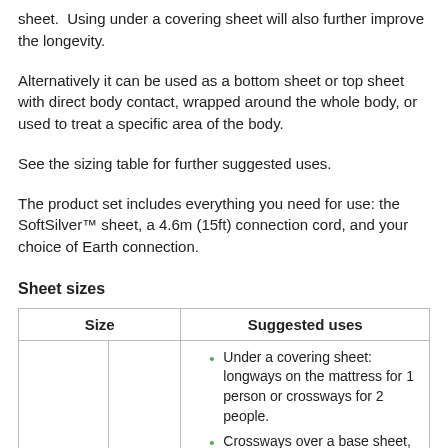sheet. Using under a covering sheet will also further improve the longevity.
Alternatively it can be used as a bottom sheet or top sheet with direct body contact, wrapped around the whole body, or used to treat a specific area of the body.
See the sizing table for further suggested uses.
The product set includes everything you need for use: the SoftSilver™ sheet, a 4.6m (15ft) connection cord, and your choice of Earth connection.
Sheet sizes
| Size | Suggested uses |
| --- | --- |
| 60x260cm | 24x102" | • Under a covering sheet: longways on the mattress for 1 person or crossways for 2 people.
• Crossways over a base sheet, tucked in around the mattress (up |